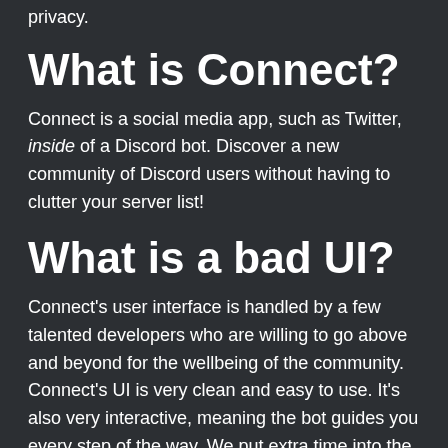privacy.
What is Connect?
Connect is a social media app, such as Twitter, inside of a Discord bot. Discover a new community of Discord users without having to clutter your server list!
What is a bad UI?
Connect's user interface is handled by a few talented developers who are willing to go above and beyond for the wellbeing of the community. Connect's UI is very clean and easy to use. It's also very interactive, meaning the bot guides you every step of the way. We put extra time into the UI so even people who don't know how to use Discord have an easy time navigating Connect.
Say good-bye to confusing guides, terms of services, and